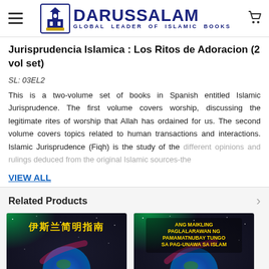DARUSSALAM — GLOBAL LEADER OF ISLAMIC BOOKS
Jurisprudencia Islamica : Los Ritos de Adoracion (2 vol set)
SL: 03EL2
This is a two-volume set of books in Spanish entitled Islamic Jurisprudence. The first volume covers worship, discussing the legitimate rites of worship that Allah has ordained for us. The second volume covers topics related to human transactions and interactions. Islamic Jurisprudence (Fiqh) is the study of the different opinions and rulings deduced from the original Islamic sources-the
VIEW ALL
Related Products
[Figure (photo): Book cover with Chinese characters '伊斯兰简明指南' on a cosmic background with Earth and galaxy]
[Figure (photo): Book cover with text 'ANG MAIKLING PAGLALARAWAN NG PAMAMATNUBAY TUNGO SA PAG-UNAWA SA ISLAM' on a cosmic background with Earth]